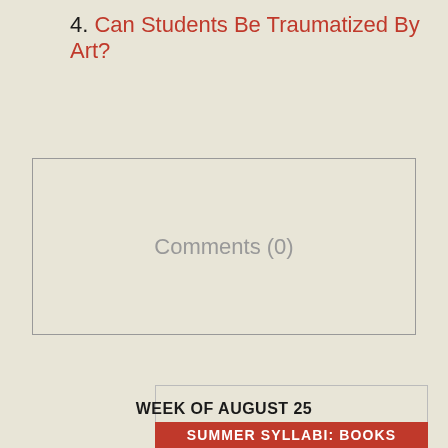4. Can Students Be Traumatized By Art?
Comments (0)
WEEK OF AUGUST 25
SUMMER SYLLABI: BOOKS